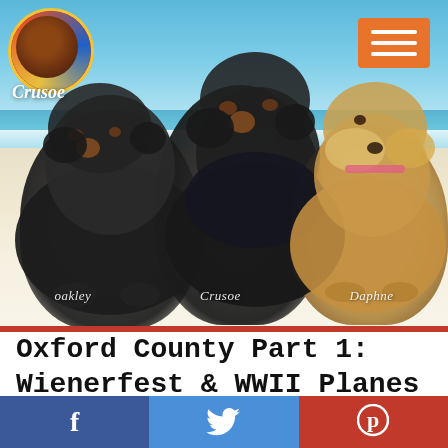[Figure (photo): Three dachshunds lying on a beach. Left: black and tan dachshund labeled 'oakley'. Center: black and tan dachshund labeled 'Crusoe'. Right: golden/blonde long-haired dachshund labeled 'Daphne'. Beach background with blue ocean and sky.]
Oxford County Part 1: Wienerfest & WWII Planes
[Figure (infographic): Social media sharing bar with Facebook (blue), Twitter (blue), and Pinterest (red) icons]